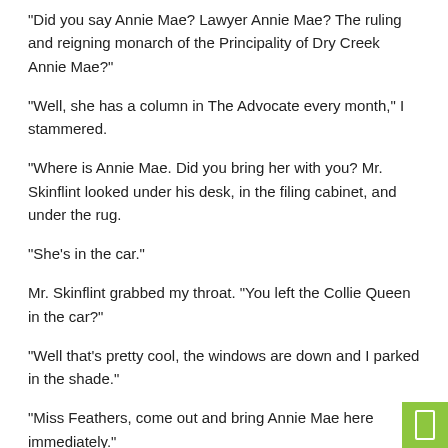“Did you say Annie Mae? Lawyer Annie Mae? The ruling and reigning monarch of the Principality of Dry Creek Annie Mae?”
“Well, she has a column in The Advocate every month,” I stammered.
“Where is Annie Mae. Did you bring her with you? Mr. Skinflint looked under his desk, in the filing cabinet, and under the rug.
“She’s in the car.”
Mr. Skinflint grabbed my throat. “You left the Collie Queen in the car?”
“Well that’s pretty cool, the windows are down and I parked in the shade.”
“Miss Feathers, come out and bring Annie Mae here immediately.”
Miss Feathers began to faint. “Not you Annie Mae? I think I’m going to pass out.